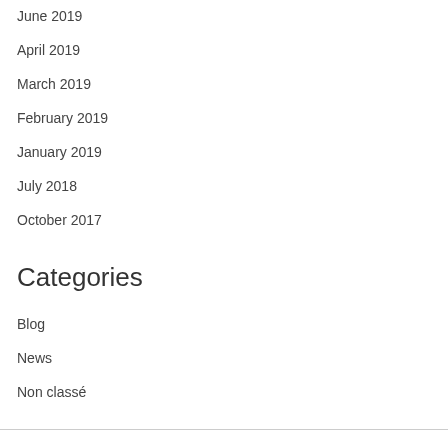June 2019
April 2019
March 2019
February 2019
January 2019
July 2018
October 2017
Categories
Blog
News
Non classé